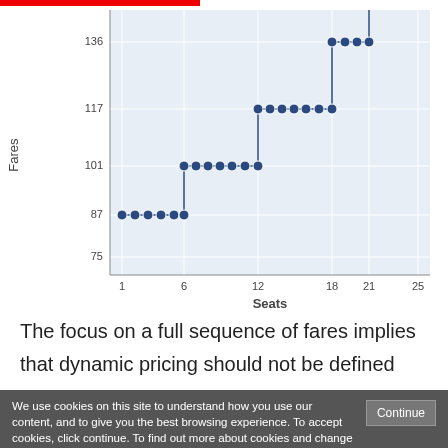[Figure (scatter-plot): Step-function scatter plot of Fares vs Seats showing fare levels at 87 (seats 1-6), 101 (seats 6-12), 117 (seats 12-18), 136+ (seats 18-21+)]
The focus on a full sequence of fares implies that dynamic pricing should not be defined
We use cookies on this site to understand how you use our content, and to give you the best browsing experience. To accept cookies, click continue. To find out more about cookies and change your preferences, visit our Cookie Policy.